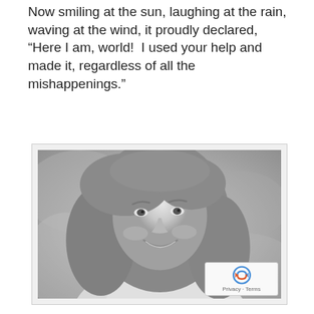Now smiling at the sun, laughing at the rain, waving at the wind, it proudly declared, “Here I am, world!  I used your help and made it, regardless of all the mishappenings.”
[Figure (photo): Black and white portrait photograph of a smiling woman with long wavy hair, wearing a light-colored knit sweater, with a blurred outdoor background.]
[Figure (logo): Google reCAPTCHA badge with Privacy and Terms links.]